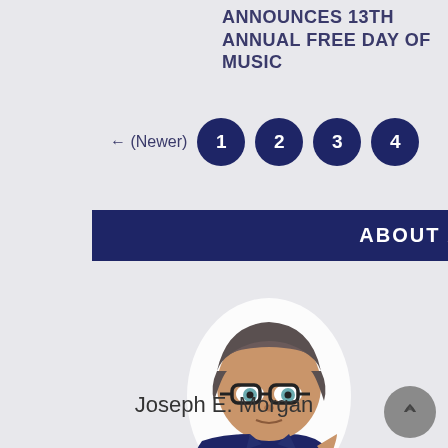ANNOUNCES 13TH ANNUAL FREE DAY OF MUSIC
← (Newer)  1  2  3  4
ABOUT AUTHOR
[Figure (illustration): Cartoon bitmoji avatar of a man with glasses and dark hair wearing a navy shirt]
Joseph E. Morgan